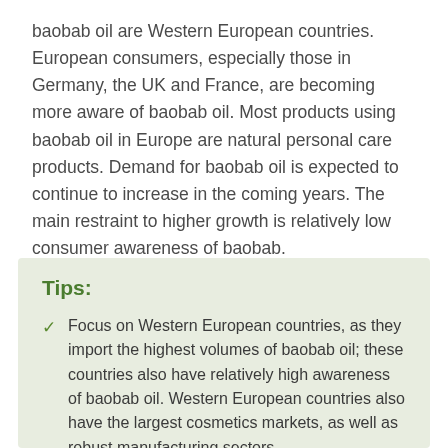baobab oil are Western European countries. European consumers, especially those in Germany, the UK and France, are becoming more aware of baobab oil. Most products using baobab oil in Europe are natural personal care products. Demand for baobab oil is expected to continue to increase in the coming years. The main restraint to higher growth is relatively low consumer awareness of baobab.
Tips:
Focus on Western European countries, as they import the highest volumes of baobab oil; these countries also have relatively high awareness of baobab oil. Western European countries also have the largest cosmetics markets, as well as robust manufacturing sectors.